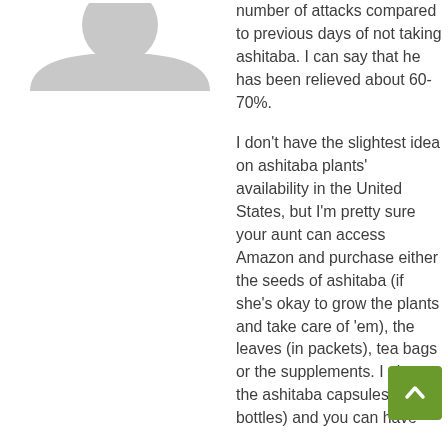[Figure (illustration): Partial gray silhouette of a person (avatar/user icon), cropped at top-left]
number of attacks compared to previous days of not taking ashitaba. I can say that he has been relieved about 60-70%.
I don't have the slightest idea on ashitaba plants' availability in the United States, but I'm pretty sure your aunt can access Amazon and purchase either the seeds of ashitaba (if she's okay to grow the plants and take care of 'em), the leaves (in packets), tea bags or the supplements. I also s the ashitaba capsules ( bottles) and you can have